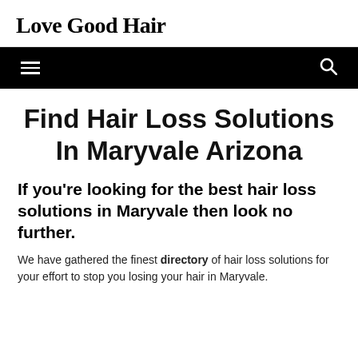Love Good Hair
Find Hair Loss Solutions In Maryvale Arizona
If you're looking for the best hair loss solutions in Maryvale then look no further.
We have gathered the finest directory of hair loss solutions for your effort to stop you losing your hair in Maryvale.